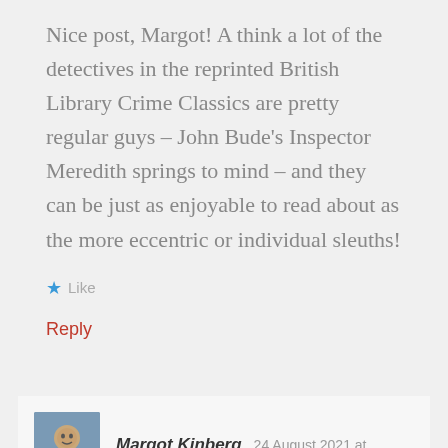Nice post, Margot! A think a lot of the detectives in the reprinted British Library Crime Classics are pretty regular guys – John Bude's Inspector Meredith springs to mind – and they can be just as enjoyable to read about as the more eccentric or individual sleuths!
Like
Reply
Margot Kinberg   24 August 2021 at